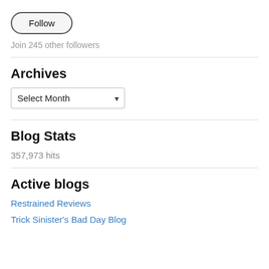Follow
Join 245 other followers
Archives
Select Month
Blog Stats
357,973 hits
Active blogs
Restrained Reviews
Trick Sinister's Bad Day Blog